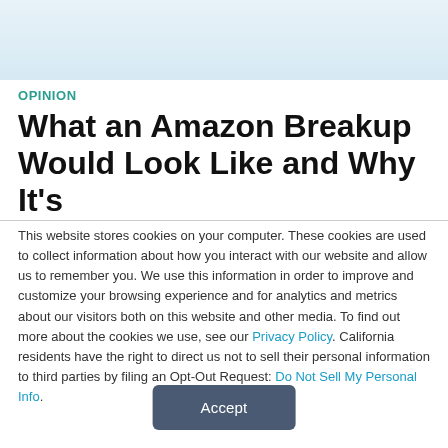[Figure (photo): Light blue header image area at top of page]
OPINION
What an Amazon Breakup Would Look Like and Why It's
This website stores cookies on your computer. These cookies are used to collect information about how you interact with our website and allow us to remember you. We use this information in order to improve and customize your browsing experience and for analytics and metrics about our visitors both on this website and other media. To find out more about the cookies we use, see our Privacy Policy. California residents have the right to direct us not to sell their personal information to third parties by filing an Opt-Out Request: Do Not Sell My Personal Info.
Accept